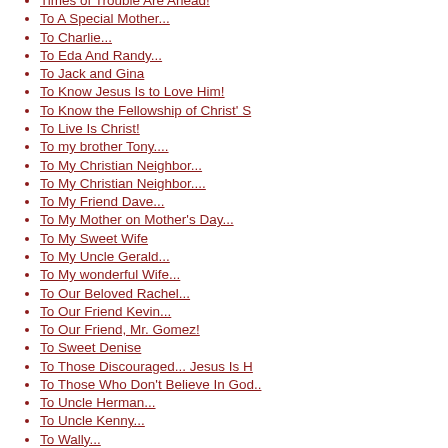Times of Trouble Are Ahead!
To A Special Mother...
To Charlie...
To Eda And Randy...
To Jack and Gina
To Know Jesus Is to Love Him!
To Know the Fellowship of Christ' S
To Live Is Christ!
To my brother Tony....
To My Christian Neighbor...
To My Christian Neighbor....
To My Friend Dave...
To My Mother on Mother's Day...
To My Sweet Wife
To My Uncle Gerald...
To My wonderful Wife...
To Our Beloved Rachel...
To Our Friend Kevin...
To Our Friend, Mr. Gomez!
To Sweet Denise
To Those Discouraged... Jesus Is H
To Those Who Don't Believe In God..
To Uncle Herman...
To Uncle Kenny...
To Wally...
To Whom It May Concern...
To Worship Jesus...
To You... My Christian Neighbor...
Today Couild Be Your Last Day!
Today Is In God's Hands!